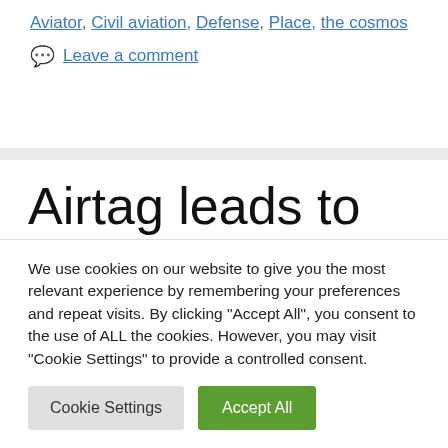Aviator, Civil aviation, Defense, Place, the cosmos
Leave a comment
Airtag leads to arrest of airline employee
We use cookies on our website to give you the most relevant experience by remembering your preferences and repeat visits. By clicking “Accept All”, you consent to the use of ALL the cookies. However, you may visit "Cookie Settings" to provide a controlled consent.